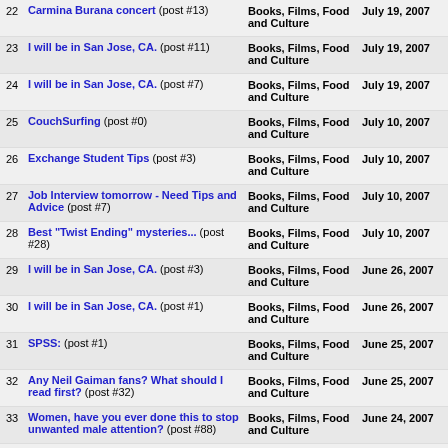22 Carmina Burana concert (post #13) | Books, Films, Food and Culture | July 19, 2007
23 I will be in San Jose, CA. (post #11) | Books, Films, Food and Culture | July 19, 2007
24 I will be in San Jose, CA. (post #7) | Books, Films, Food and Culture | July 19, 2007
25 CouchSurfing (post #0) | Books, Films, Food and Culture | July 10, 2007
26 Exchange Student Tips (post #3) | Books, Films, Food and Culture | July 10, 2007
27 Job Interview tomorrow - Need Tips and Advice (post #7) | Books, Films, Food and Culture | July 10, 2007
28 Best "Twist Ending" mysteries... (post #28) | Books, Films, Food and Culture | July 10, 2007
29 I will be in San Jose, CA. (post #3) | Books, Films, Food and Culture | June 26, 2007
30 I will be in San Jose, CA. (post #1) | Books, Films, Food and Culture | June 26, 2007
31 SPSS: (post #1) | Books, Films, Food and Culture | June 25, 2007
32 Any Neil Gaiman fans? What should I read first? (post #32) | Books, Films, Food and Culture | June 25, 2007
33 Women, have you ever done this to stop unwanted male attention? (post #88) | Books, Films, Food and Culture | June 24, 2007
34 Any Neil Gaiman fans? What should I read first? (post #24) | Books, Films, Food and Culture | June 24, 2007
35 Women, have you ever done this to stop unwanted male attention? (post #18) | Books, Films, Food and Culture | June 21, 2007
36 Any Neil Gaiman fans? What should I read first? (post #22) | Books, Films, Food and Culture | June 21, 2007
37 Whats spinning? (A musical thread) 1st reincarnation. (post #15) | Books, Films, Food and Culture | June 20, 2007